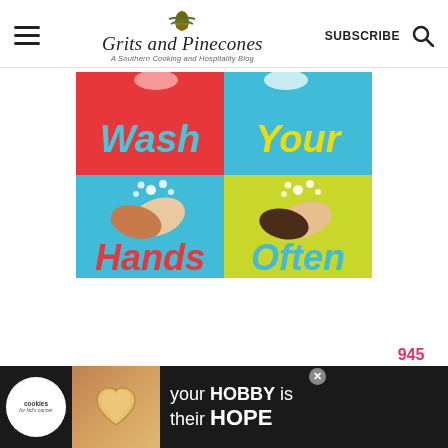Grits and Pinecones — A Southern Cooking and Hospitality Blog | SUBSCRIBE
[Figure (illustration): Four-panel 'Wash Your Hands Often' illustration. Top-left: red background with the word 'Wash' in cyan italic; Top-right: blue background with the word 'Your' in yellow italic; Bottom-left: teal background with two illustrated hands washing with soap bubbles and the word 'Hands' in red italic; Bottom-right: yellow-green background with two illustrated darker-skinned hands with soap bubbles and the word 'Often' in blue italic.]
945
[Figure (illustration): Heart icon button (white circle with pink heart) for saving/liking, and a pink circular search button below it.]
[Figure (illustration): Advertisement bar at the bottom: dark background, Cookies for Kid's Cancer badge logo, image of hands holding a heart-shaped cookie, text reading 'your HOBBY is their HOPE']